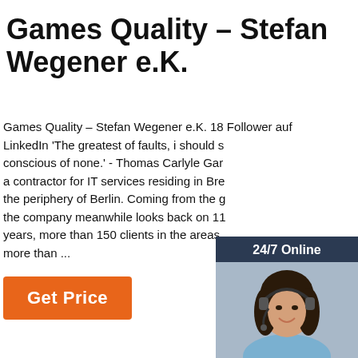Games Quality – Stefan Wegener e.K.
Games Quality – Stefan Wegener e.K. 18 Follower auf LinkedIn 'The greatest of faults, i should say, is to be conscious of none.' - Thomas Carlyle Gar a contractor for IT services residing in Bra the periphery of Berlin. Coming from the g the company meanwhile looks back on 11 years, more than 150 clients in the areas more than ...
[Figure (other): Chat widget with woman wearing headset, '24/7 Online' header, 'Click here for free chat!' text, and orange QUOTATION button]
[Figure (logo): Orange dotted arch above 'TOP' text in orange]